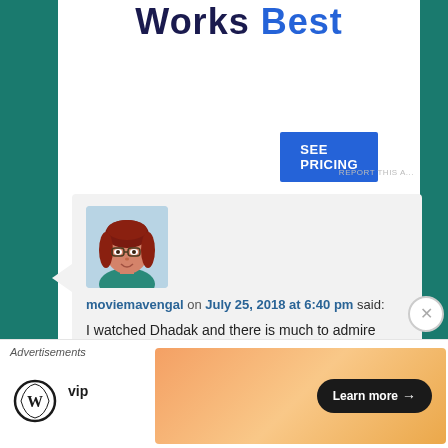Works Best
[Figure (screenshot): SEE PRICING button (blue)]
REPORT THIS A...
[Figure (illustration): Avatar of moviemavengal - cartoon woman with red hair and glasses]
moviemavengal on July 25, 2018 at 6:40 pm said:
I watched Dhadak and there is much to admire even if it isn't the masterpiece that is Sairat. Going to see it a second time tonight with friends who
Advertisements
[Figure (logo): WordPress VIP logo]
[Figure (screenshot): Ad banner with Learn more button]